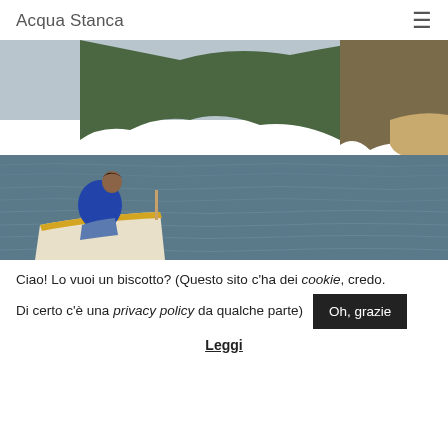Acqua Stanca
[Figure (photo): A person in a blue jacket sits on a wooden boat looking out at calm sea water, with a rocky green hillside and cliff in the background under an overcast sky.]
Ciao! Lo vuoi un biscotto? (Questo sito c'ha dei cookie, credo. Di certo c'è una privacy policy da qualche parte)
Oh, grazie
Leggi